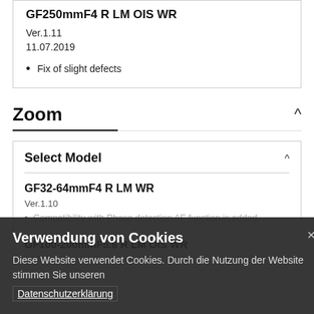GF250mmF4 R LM OIS WR
Ver.1.11
11.07.2019
Fix of slight defects
Zoom
Select Model
GF32-64mmF4 R LM WR
Ver.1.10
Compatibility with Phase detection AF function is added.
GF100-200mmF5.6 R LM OIS WR
Verwendung von Cookies
Diese Website verwendet Cookies. Durch die Nutzung der Website stimmen Sie unseren
Datenschutzerklärung